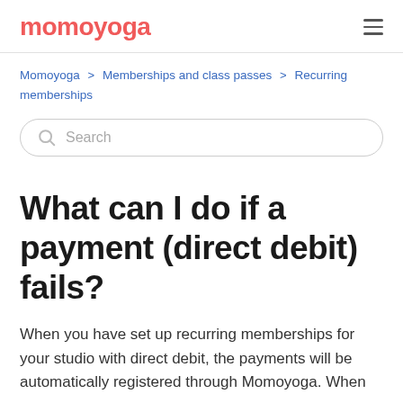momoyoga
Momoyoga > Memberships and class passes > Recurring memberships
Search
What can I do if a payment (direct debit) fails?
When you have set up recurring memberships for your studio with direct debit, the payments will be automatically registered through Momoyoga. When